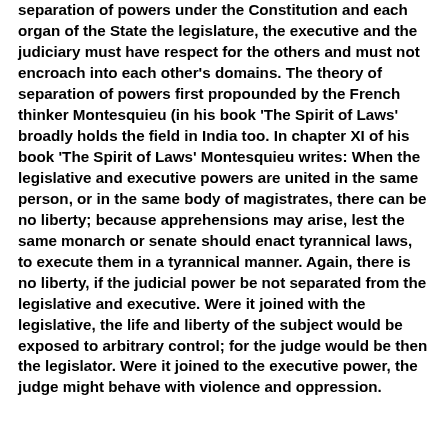separation of powers under the Constitution and each organ of the State the legislature, the executive and the judiciary must have respect for the others and must not encroach into each other's domains. The theory of separation of powers first propounded by the French thinker Montesquieu (in his book 'The Spirit of Laws' broadly holds the field in India too. In chapter XI of his book 'The Spirit of Laws' Montesquieu writes: When the legislative and executive powers are united in the same person, or in the same body of magistrates, there can be no liberty; because apprehensions may arise, lest the same monarch or senate should enact tyrannical laws, to execute them in a tyrannical manner. Again, there is no liberty, if the judicial power be not separated from the legislative and executive. Were it joined with the legislative, the life and liberty of the subject would be exposed to arbitrary control; for the judge would be then the legislator. Were it joined to the executive power, the judge might behave with violence and oppression.